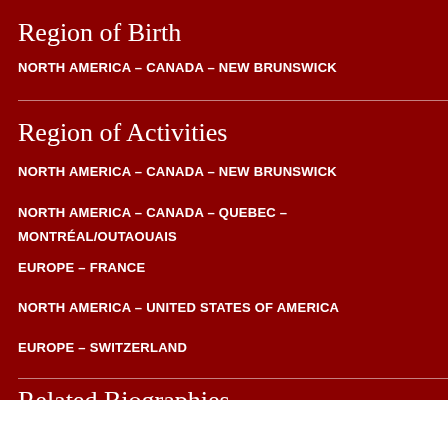Region of Birth
NORTH AMERICA – CANADA – NEW BRUNSWICK
Region of Activities
NORTH AMERICA – CANADA – NEW BRUNSWICK
NORTH AMERICA – CANADA – QUEBEC – MONTRÉAL/OUTAOUAIS
EUROPE – FRANCE
NORTH AMERICA – UNITED STATES OF AMERICA
EUROPE – SWITZERLAND
Related Biographies
Cite This Article